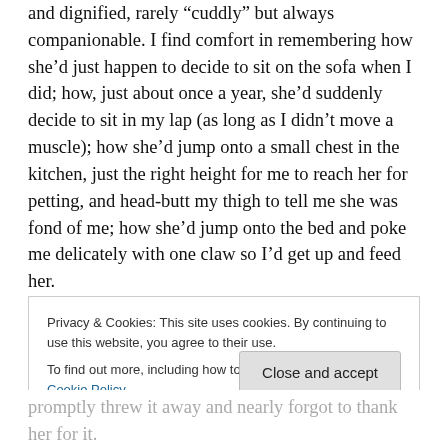and dignified, rarely “cuddly” but always companionable. I find comfort in remembering how she’d just happen to decide to sit on the sofa when I did; how, just about once a year, she’d suddenly decide to sit in my lap (as long as I didn’t move a muscle); how she’d jump onto a small chest in the kitchen, just the right height for me to reach her for petting, and head-butt my thigh to tell me she was fond of me; how she’d jump onto the bed and poke me delicately with one claw so I’d get up and feed her.
She had excellent manners, and (almost) infinite patience
Privacy & Cookies: This site uses cookies. By continuing to use this website, you agree to their use.
To find out more, including how to control cookies, see here: Cookie Policy
Close and accept
promptly threw it away and nearly forgot to thank her for it.